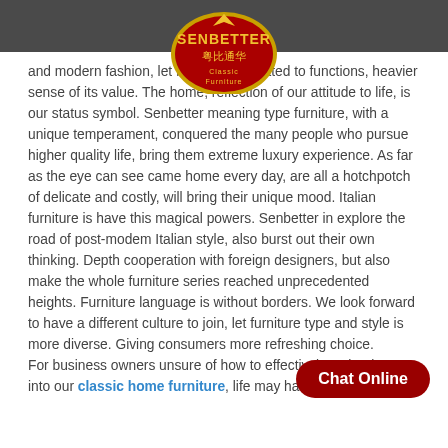Senbetter Classic Furniture
[Figure (logo): Senbetter Classic Furniture oval logo with red background and gold border, Chinese characters below brand name]
and modern fashion, let furniture dedicated to functions, heavier sense of its value. The home, reflection of our attitude to life, is our status symbol. Senbetter meaning type furniture, with a unique temperament, conquered the many people who pursue higher quality life, bring them extreme luxury experience. As far as the eye can see came home every day, are all a hotchpotch of delicate and costly, will bring their unique mood. Italian furniture is have this magical powers. Senbetter in explore the road of post-modem Italian style, also burst out their own thinking. Depth cooperation with foreign designers, but also make the whole furniture series reached unprecedented heights. Furniture language is without borders. We look forward to have a different culture to join, let furniture type and style is more diverse. Giving consumers more refreshing choice.
For business owners unsure of how to effectively technology into our classic home furniture, life may have just